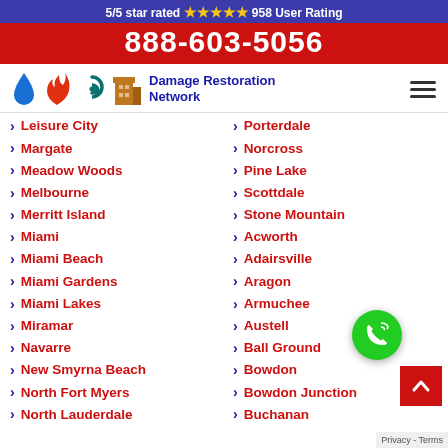5/5 star rated ⭐⭐⭐⭐⭐ 958 User Rating
888-603-5056
[Figure (logo): Damage Restoration Network logo with water drop, fire, hurricane, and building icons]
Leisure City
Margate
Meadow Woods
Melbourne
Merritt Island
Miami
Miami Beach
Miami Gardens
Miami Lakes
Miramar
Navarre
New Smyrna Beach
North Fort Myers
North Lauderdale
Porterdale
Norcross
Pine Lake
Scottdale
Stone Mountain
Acworth
Adairsville
Aragon
Armuchee
Austell
Ball Ground
Bowdon
Bowdon Junction
Buchanan